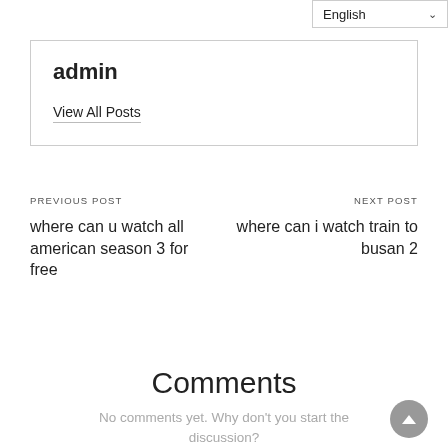English
admin
View All Posts
PREVIOUS POST
where can u watch all american season 3 for free
NEXT POST
where can i watch train to busan 2
Comments
No comments yet. Why don't you start the discussion?